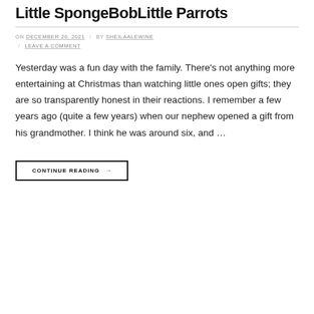Little SpongebobLittle Parrots
ON DECEMBER 26, 2021 / BY SHEILAALEWINE / LEAVE A COMMENT
Yesterday was a fun day with the family. There's not anything more entertaining at Christmas than watching little ones open gifts; they are so transparently honest in their reactions. I remember a few years ago (quite a few years) when our nephew opened a gift from his grandmother. I think he was around six, and …
CONTINUE READING →